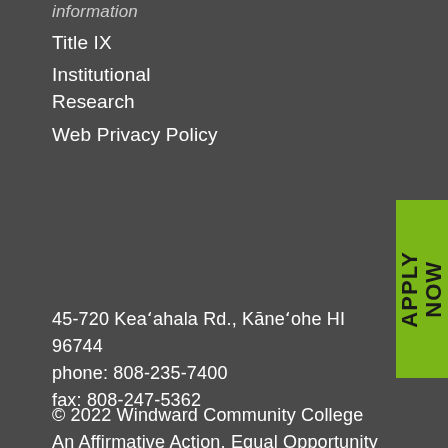information
Title IX
Institutional Research
Web Privacy Policy
[Figure (other): Green APPLY NOW button rotated vertically on right side]
45-720 Keaʻahala Rd., Kāneʻohe HI 96744
phone: 808-235-7400
fax: 808-247-5362
© 2022 Windward Community College
An Affirmative Action, Equal Opportunity